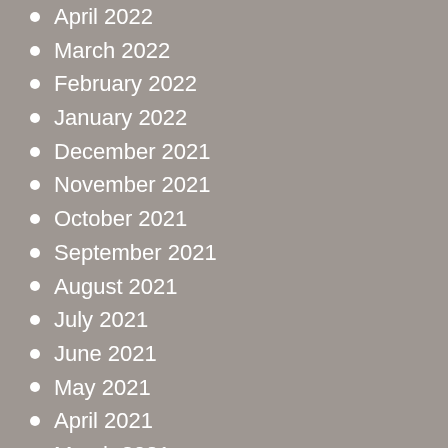April 2022
March 2022
February 2022
January 2022
December 2021
November 2021
October 2021
September 2021
August 2021
July 2021
June 2021
May 2021
April 2021
March 2021
Categories
Auto Insurance
Commercial Insurance
Condo Insurance
Home Insurance
Renters Insurance
Umbrella Insurance